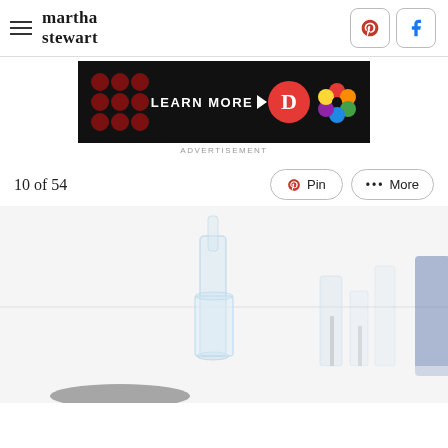martha stewart
[Figure (screenshot): Advertisement banner with 'LEARN MORE' text and brand logos on dark background]
ADVERTISEMENT
10 of 54
[Figure (photo): Close-up photo of clear glass drinkware and glassware on a white surface, partially blurred]